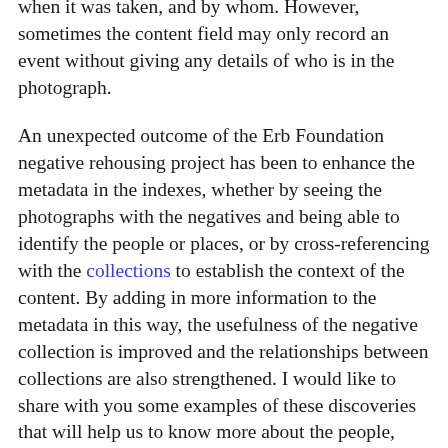index, which records the negative number given to each photograph, the content of the photograph, when it was taken, and by whom. However, sometimes the content field may only record an event without giving any details of who is in the photograph.
An unexpected outcome of the Erb Foundation negative rehousing project has been to enhance the metadata in the indexes, whether by seeing the photographs with the negatives and being able to identify the people or places, or by cross-referencing with the collections to establish the context of the content. By adding in more information to the metadata in this way, the usefulness of the negative collection is improved and the relationships between collections are also strengthened. I would like to share with you some examples of these discoveries that will help us to know more about the people, places, and things of